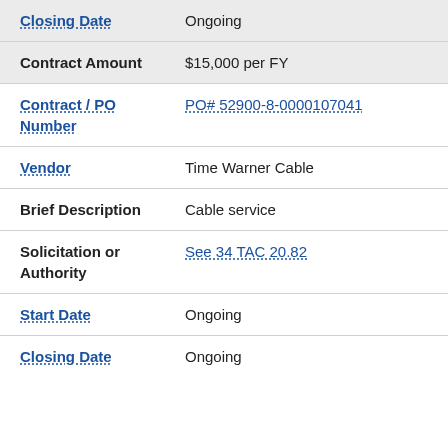Closing Date | Ongoing
Contract Amount | $15,000 per FY
Contract / PO Number | PO# 52900-8-0000107041
Vendor | Time Warner Cable
Brief Description | Cable service
Solicitation or Authority | See 34 TAC 20.82
Start Date | Ongoing
Closing Date | Ongoing